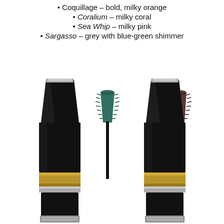Coquillage – bold, milky orange
Coralium – milky coral
Sea Whip – milky pink
Sargasso – grey with blue-green shimmer
[Figure (photo): Two Chanel mascara tubes shown open with wands extended. Left tube has a teal/dark green wand brush. Right tube has a dark brown/burgundy wand brush. Both tubes are black with gold and silver bands at the base.]